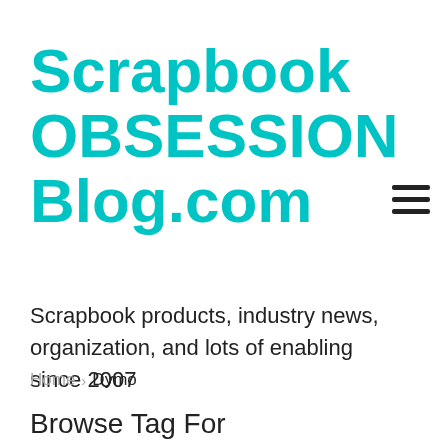Scrapbook OBSESSION Blog.com
Scrapbook products, industry news, organization, and lots of enabling since 2007
Home > Dymo
Browse Tag For